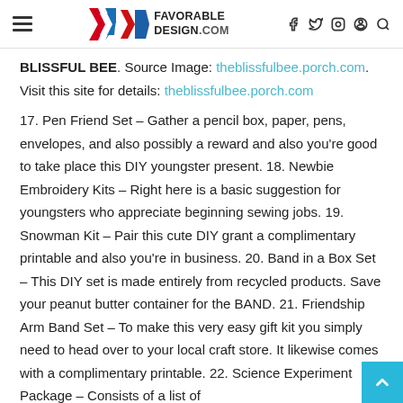FAVORABLE DESIGN.COM
BLISSFUL BEE. Source Image: theblissfulbee.porch.com. Visit this site for details: theblissfulbee.porch.com
17. Pen Friend Set – Gather a pencil box, paper, pens, envelopes, and also possibly a reward and also you're good to take place this DIY youngster present. 18. Newbie Embroidery Kits – Right here is a basic suggestion for youngsters who appreciate beginning sewing jobs. 19. Snowman Kit – Pair this cute DIY grant a complimentary printable and also you're in business. 20. Band in a Box Set – This DIY set is made entirely from recycled products. Save your peanut butter container for the BAND. 21. Friendship Arm Band Set – To make this very easy gift kit you simply need to head over to your local craft store. It likewise comes with a complimentary printable. 22. Science Experiment Package – Consists of a list of